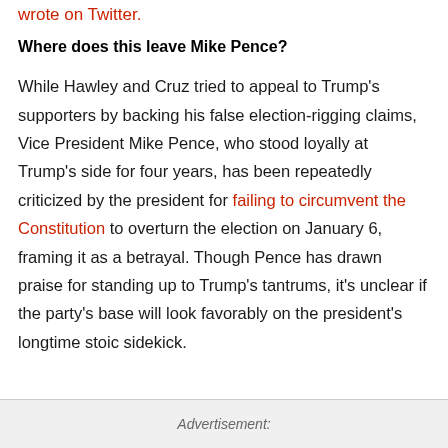wrote on Twitter.
Where does this leave Mike Pence?
While Hawley and Cruz tried to appeal to Trump's supporters by backing his false election-rigging claims, Vice President Mike Pence, who stood loyally at Trump's side for four years, has been repeatedly criticized by the president for failing to circumvent the Constitution to overturn the election on January 6, framing it as a betrayal. Though Pence has drawn praise for standing up to Trump's tantrums, it's unclear if the party's base will look favorably on the president's longtime stoic sidekick.
Advertisement: